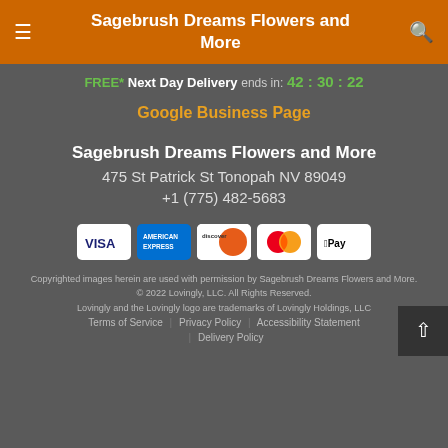Sagebrush Dreams Flowers and More
FREE* Next Day Delivery ends in: 42:30:22
Google Business Page
Sagebrush Dreams Flowers and More
475 St Patrick St Tonopah NV 89049
+1 (775) 482-5683
[Figure (infographic): Payment method icons: Visa, American Express, Discover, Mastercard, Apple Pay]
Copyrighted images herein are used with permission by Sagebrush Dreams Flowers and More.
© 2022 Lovingly, LLC. All Rights Reserved.
Lovingly and the Lovingly logo are trademarks of Lovingly Holdings, LLC
Terms of Service | Privacy Policy | Accessibility Statement | Delivery Policy